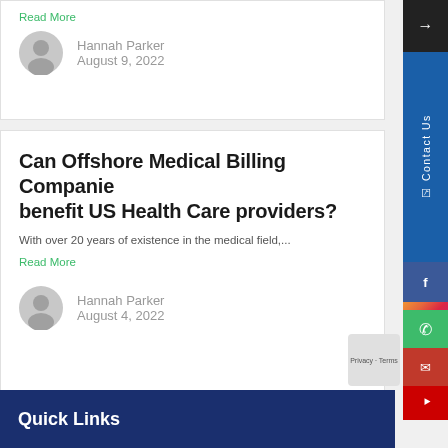Read More
Hannah Parker
August 9, 2022
Can Offshore Medical Billing Companies benefit US Health Care providers?
With over 20 years of existence in the medical field,...
Read More
Hannah Parker
August 4, 2022
Quick Links